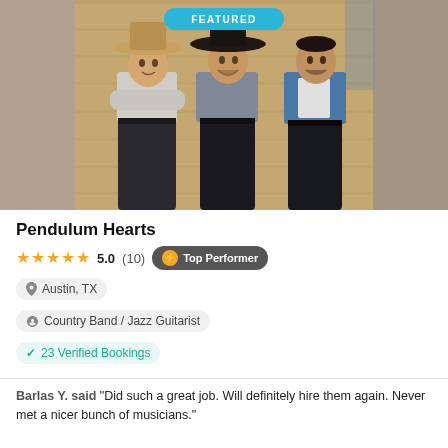[Figure (photo): Three men standing in front of a wooden wall. Left man wears a tan cowboy hat and gray shirt with arms crossed. Middle man wears a dark wide-brim hat and gray shirt. Right man wears a denim jacket over a white shirt. A 'FEATURED' badge appears at the top of the image.]
Pendulum Hearts
★★★★★ 5.0 (10) ⚡ Top Performer
📍 Austin, TX
👤 Country Band / Jazz Guitarist
✓ 23 Verified Bookings
Barlas Y. said "Did such a great job. Will definitely hire them again. Never met a nicer bunch of musicians."